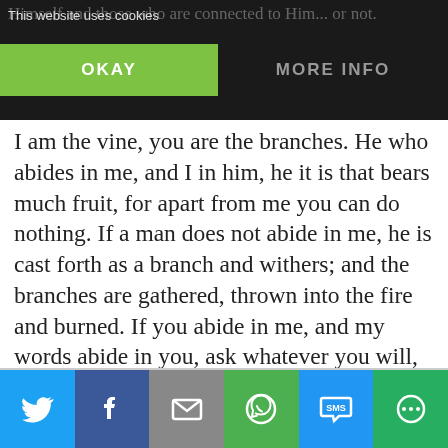This website uses cookies
I am the vine, you are the branches. He who abides in me, and I in him, he it is that bears much fruit, for apart from me you can do nothing. If a man does not abide in me, he is cast forth as a branch and withers; and the branches are gathered, thrown into the fire and burned. If you abide in me, and my words abide in you, ask whatever you will, and it shall be done for you. By this my Father is glorified, that you bear much fruit, and so prove to be my disciples.
[Figure (screenshot): Social media share bar with Twitter, Facebook, Email, WhatsApp, SMS, and More buttons]